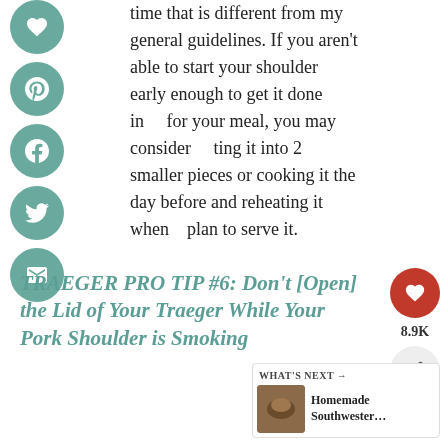time that is different from my general guidelines. If you aren't able to start your shoulder early enough to get it done in for your meal, you may consider ting it into 2 smaller pieces or cooking t e day before and reheating it when plan to serve it.
TRAEGER PRO TIP #6: Don't [Open] the Lid of Your Traeger While Your Pork Shoulder is Smoking